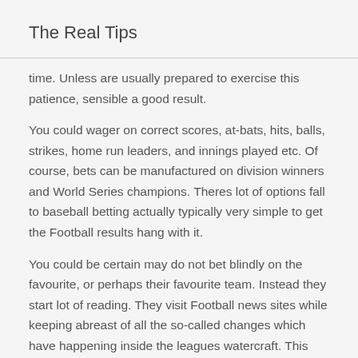The Real Tips
time. Unless are usually prepared to exercise this patience, sensible a good result.
You could wager on correct scores, at-bats, hits, balls, strikes, home run leaders, and innings played etc. Of course, bets can be manufactured on division winners and World Series champions. Theres lot of options fall to baseball betting actually typically very simple to get the Football results hang with it.
You could be certain may do not bet blindly on the favourite, or perhaps their favourite team. Instead they start lot of reading. They visit Football news sites while keeping abreast of all the so-called changes which have happening inside the leagues watercraft. This can vary from management changes, to problems major team members.